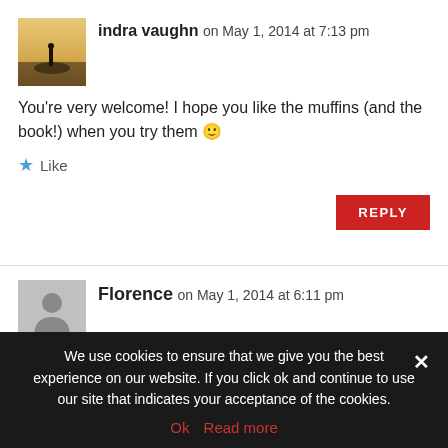[Figure (photo): Avatar photo of indra vaughn — landscape with silhouette figure on rock]
indra vaughn on May 1, 2014 at 7:13 pm
You're very welcome! I hope you like the muffins (and the book!) when you try them 🙂
★ Like
REPLY
[Figure (illustration): Generic gray user avatar silhouette for Florence]
Florence on May 1, 2014 at 6:11 pm
I have been wanting this book for ages, so count me in!

And I need to try those muffins too!
★ Like
We use cookies to ensure that we give you the best experience on our website. If you click ok and continue to use our site that indicates your acceptance of the cookies.
Ok   Read more